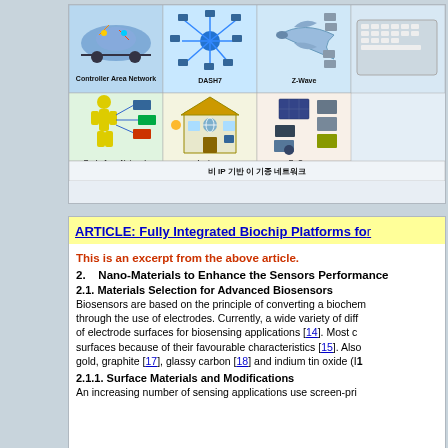[Figure (infographic): Network diagram infographic showing non-IP legacy networks including Controller Area Network (car diagram), DASH7, Z-Wave, Body Area Network (human body diagram), Insteon (smart home), and EnOcean. Korean text at bottom reads: 비 IP 기반 이 기종 네트워크]
비 IP 기반 이 기종 네트워크
ARTICLE: Fully Integrated Biochip Platforms for...
This is an excerpt from the above article.
2.    Nano-Materials to Enhance the Sensors Performance
2.1. Materials Selection for Advanced Biosensors
Biosensors are based on the principle of converting a biochemical signal through the use of electrodes. Currently, a wide variety of different types of electrode surfaces for biosensing applications [14]. Most c... surfaces because of their favourable characteristics [15]. Also gold, graphite [17], glassy carbon [18] and indium tin oxide (I...
2.1.1. Surface Materials and Modifications
An increasing number of sensing applications use screen-pri...